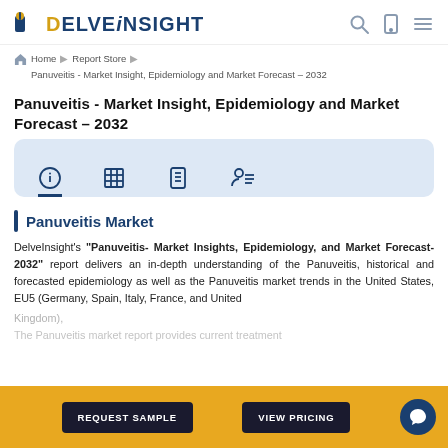DelveInsight | Home > Report Store > Panuveitis - Market Insight, Epidemiology and Market Forecast – 2032
Panuveitis - Market Insight, Epidemiology and Market Forecast – 2032
[Figure (infographic): Icon tab bar with four icons: info circle, grid/table, checklist, and person with lines. First tab is active with blue underline.]
Panuveitis Market
DelveInsight's "Panuveitis- Market Insights, Epidemiology, and Market Forecast-2032" report delivers an in-depth understanding of the Panuveitis, historical and forecasted epidemiology as well as the Panuveitis market trends in the United States, EU5 (Germany, Spain, Italy, France, and United Kingdom),
The Panuveitis market report provides current treatment...